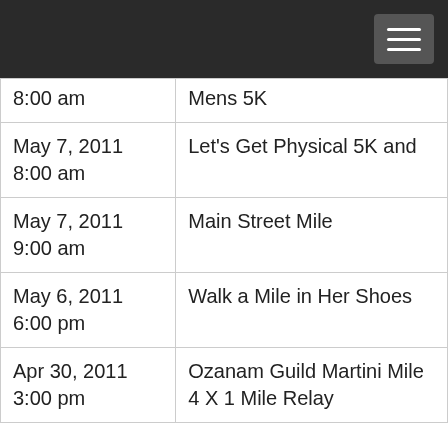| 8:00 am | Mens 5K |
| May 7, 2011
8:00 am | Let's Get Physical 5K and |
| May 7, 2011
9:00 am | Main Street Mile |
| May 6, 2011
6:00 pm | Walk a Mile in Her Shoes |
| Apr 30, 2011
3:00 pm | Ozanam Guild Martini Mile
4 X 1 Mile Relay |